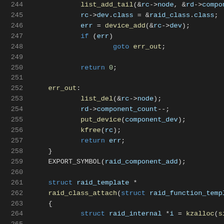[Figure (screenshot): C source code snippet showing lines 244-265 of a Linux kernel RAID driver. Dark background code editor view with syntax highlighting. Lines show device_add, goto err_out, return 0, err_out label, list_del, rd->component_count--, put_device, kfree, return err, closing brace, EXPORT_SYMBOL, struct raid_template, raid_class_attach, opening brace, and struct raid_internal kzalloc calls.]